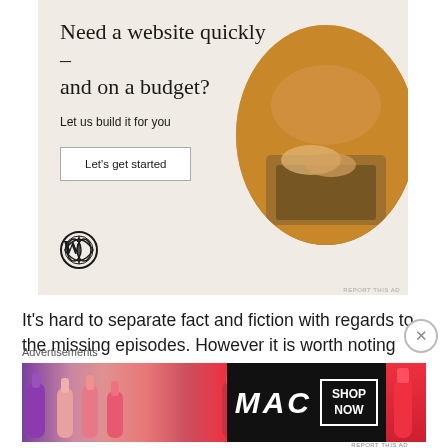[Figure (infographic): WordPress advertisement banner with beige background. Headline: 'Need a website quickly – and on a budget?' Subheading: 'Let us build it for you'. Button: 'Let's get started'. WordPress logo in bottom left. Circular photo of person's hands typing on laptop in lower right.]
It's hard to separate fact and fiction with regards to the missing episodes. However it is worth noting that Levine who (it has been claimed) inspired the Abzorbaloff in Love & Monsters, waited a decade before sharing his version of
Advertisements
[Figure (infographic): MAC Cosmetics advertisement showing colorful lipsticks on dark background with MAC logo and 'SHOP NOW' button.]